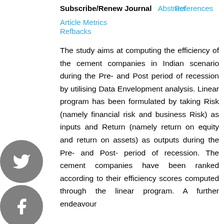Subscribe/Renew Journal
Abstract
References
Article Metrics
Refbacks
The study aims at computing the efficiency of the cement companies in Indian scenario during the Pre- and Post period of recession by utilising Data Envelopment analysis. Linear program has been formulated by taking Risk (namely financial risk and business Risk) as inputs and Return (namely return on equity and return on assets) as outputs during the Pre- and Post- period of recession. The cement companies have been ranked according to their efficiency scores computed through the linear program. A further endeavour